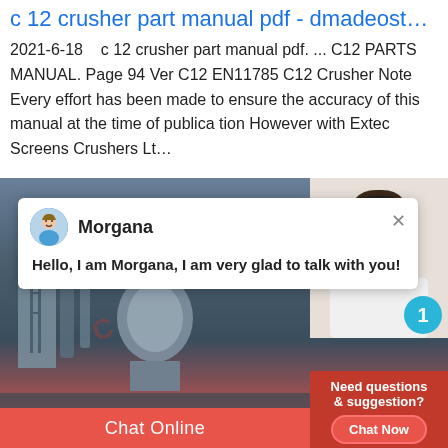c 12 crusher part manual pdf - dmadeostudio.pl
2021-6-18   c 12 crusher part manual pdf. ... C12 PARTS MANUAL. Page 94 Ver C12 EN11785 C12 Crusher Note Every effort has been made to ensure the accuracy of this manual at the time of publica tion However with Extec Screens Crushers Lt…
[Figure (screenshot): Screenshot of a website with a chat popup featuring 'Morgana' saying 'Hello, I am Morgana, I am very glad to talk with you!', an industrial machinery image background, a customer service representative photo on the right side with 'Need questions & suggestion? Chat Now' panel, and a red 'Chat Online' bar at the bottom.]